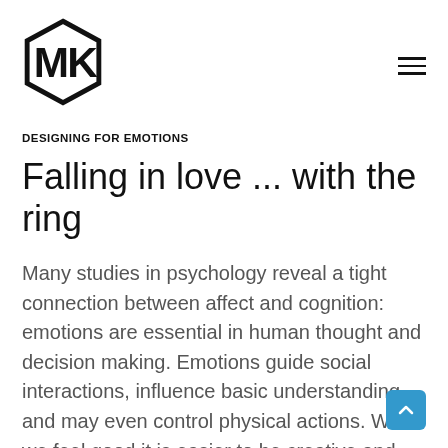[Figure (logo): MK hexagon logo in black outline]
DESIGNING FOR EMOTIONS
Falling in love ... with the ring
Many studies in psychology reveal a tight connection between affect and cognition: emotions are essential in human thought and decision making. Emotions guide social interactions, influence basic understanding and may even control physical actions. When we feel good it is easier to be creative and make decisions. Attractive things really do